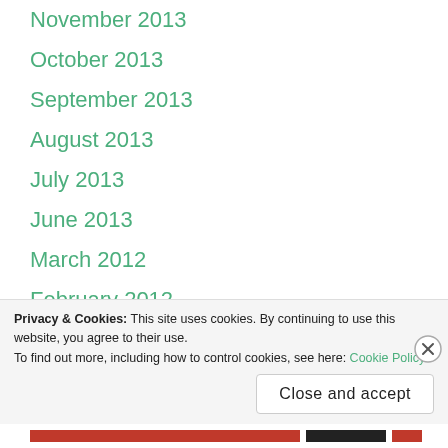November 2013
October 2013
September 2013
August 2013
July 2013
June 2013
March 2012
February 2012
January 2012
December 2011
November 2011
October 2011
Privacy & Cookies: This site uses cookies. By continuing to use this website, you agree to their use.
To find out more, including how to control cookies, see here: Cookie Policy
Close and accept